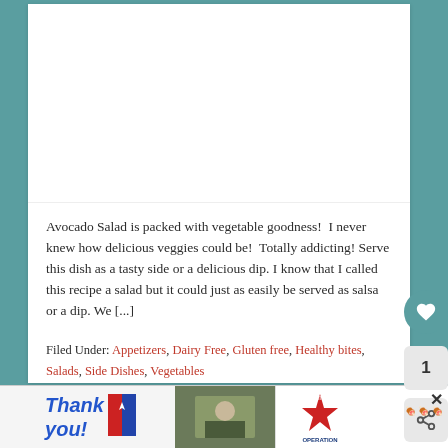[Figure (photo): White rectangular image placeholder area at the top of the card]
Avocado Salad is packed with vegetable goodness!  I never knew how delicious veggies could be!  Totally addicting! Serve this dish as a tasty side or a delicious dip. I know that I called this recipe a salad but it could just as easily be served as salsa or a dip. We [...]
Filed Under: Appetizers, Dairy Free, Gluten free, Healthy bites, Salads, Side Dishes, Vegetables
Tagged With: baked beans, Chocolate Cupcakes, corn chips, corn
[Figure (photo): Advertisement banner at the bottom: 'Thank you!' text with American flag motif, military photo, and Operation Gratitude logo]